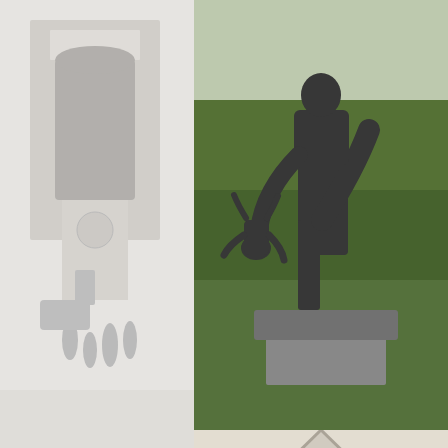[Figure (photo): A bronze sculpture showing a large figure holding a small baby upside down by the ankle, mounted on a stone pedestal, set against a green lawn and trees backdrop.]
The Angry Baby is the most famous, individual statue in the entire park.
[Figure (photo): A bronze statue of a small angry-looking child with fists clenched, standing outdoors with green trees and buildings visible in the background.]